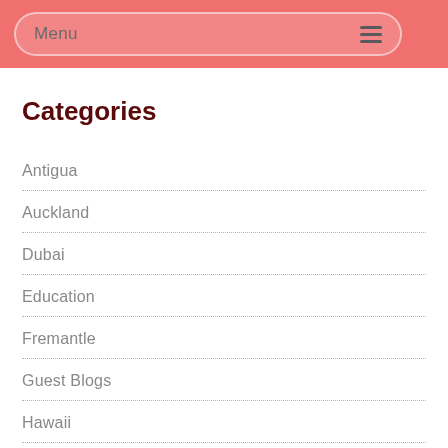Menu
Categories
Antigua
Auckland
Dubai
Education
Fremantle
Guest Blogs
Hawaii